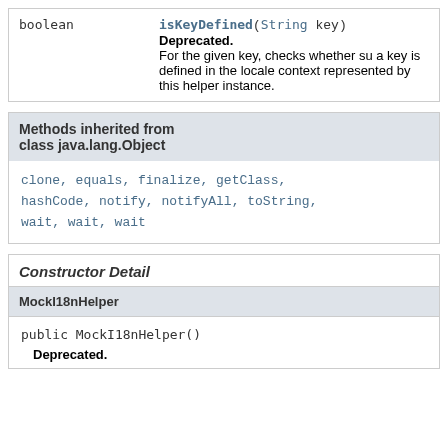| Type | Method and Description |
| --- | --- |
| boolean | isKeyDefined(String key)
Deprecated.
For the given key, checks whether su a key is defined in the locale context represented by this helper instance. |
Methods inherited from class java.lang.Object
clone, equals, finalize, getClass, hashCode, notify, notifyAll, toString, wait, wait, wait
Constructor Detail
MockI18nHelper
public MockI18nHelper()
Deprecated.